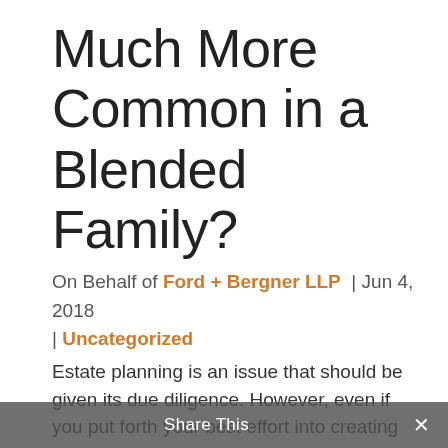Much More Common in a Blended Family?
On Behalf of Ford + Bergner LLP | Jun 4, 2018 | Uncategorized
Estate planning is an issue that should be given its due diligence. However, even if you put forth your best effort into creating an estate plan for your family after your passing, if your family is blended, your chances of your estate ending in estate litigation definitely
Share This ×